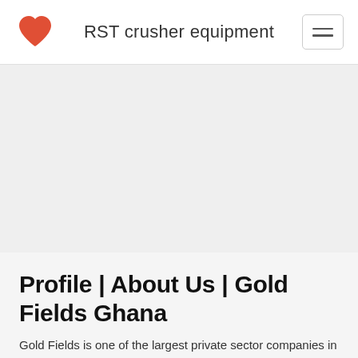RST crusher equipment
[Figure (illustration): Large gray hero image placeholder area]
Profile | About Us | Gold Fields Ghana
Gold Fields is one of the largest private sector companies in Ghana, controlling 90% of both the Tarkwa and Damang gold mines. The